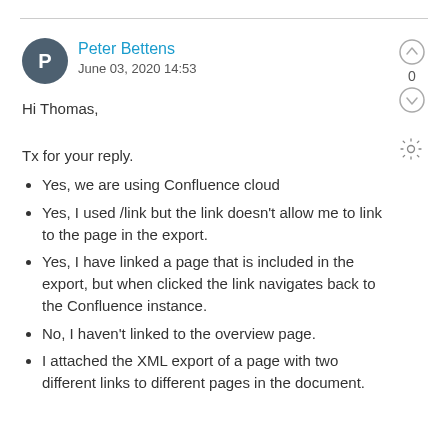Peter Bettens — June 03, 2020 14:53
Hi Thomas,
Tx for your reply.
Yes, we are using Confluence cloud
Yes, I used /link but the link doesn't allow me to link to the page in the export.
Yes, I have linked a page that is included in the export, but when clicked the link navigates back to the Confluence instance.
No, I haven't linked to the overview page.
I attached the XML export of a page with two different links to different pages in the document.